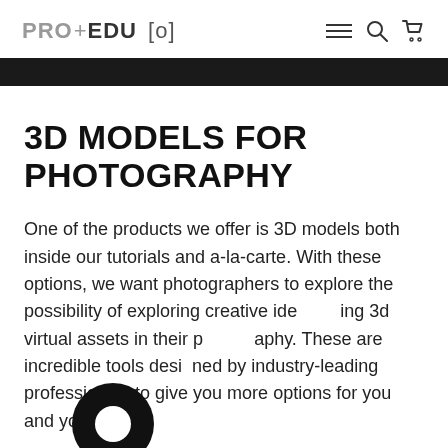PRO+EDU [o]
3D MODELS FOR PHOTOGRAPHY
One of the products we offer is 3D models both inside our tutorials and a-la-carte. With these options, we want photographers to explore the possibility of exploring creative ideas using 3d virtual assets in their photography. These are incredible tools designed by industry-leading professionals to give you more options for you and your